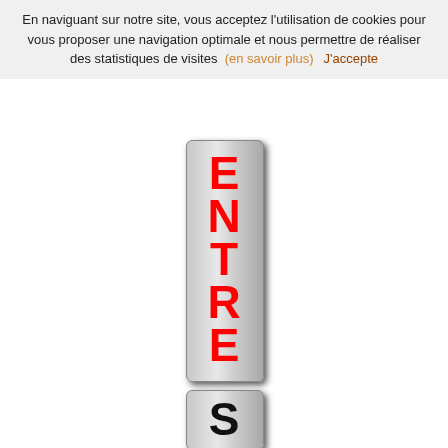En naviguant sur notre site, vous acceptez l'utilisation de cookies pour vous proposer une navigation optimale et nous permettre de réaliser des statistiques de visites  (en savoir plus)     J'accepte
[Figure (illustration): A vertical 3D button with grey metallic appearance displaying the word ENTRER written vertically in large bold red letters, E N T R E R from top to bottom]
[Figure (illustration): A vertical 3D button with grey metallic appearance partially visible at the bottom of the page, showing the beginning letters S O of a word (likely SORTIR) in large bold black letters]